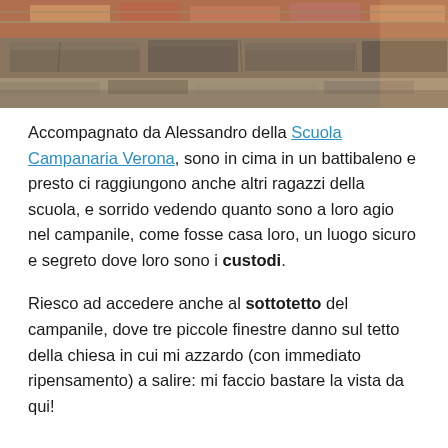[Figure (photo): Ancient stone and brick wall ruins, showing layered masonry in earthy tones of red, grey, and tan.]
Accompagnato da Alessandro della Scuola Campanaria Verona, sono in cima in un battibaleno e presto ci raggiungono anche altri ragazzi della scuola, e sorrido vedendo quanto sono a loro agio nel campanile, come fosse casa loro, un luogo sicuro e segreto dove loro sono i custodi.
Riesco ad accedere anche al sottotetto del campanile, dove tre piccole finestre danno sul tetto della chiesa in cui mi azzardo (con immediato ripensamento) a salire: mi faccio bastare la vista da qui!